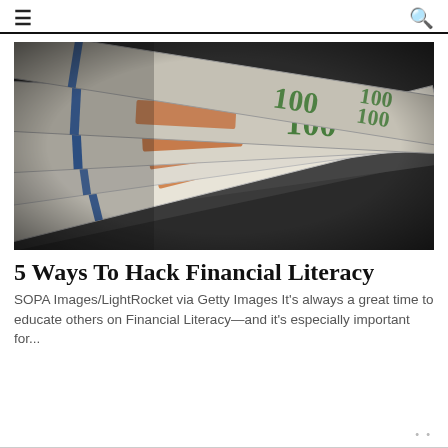≡  🔍
[Figure (photo): Close-up photograph of stacked US $100 dollar bills fanned out, showing green numerals, blue security strip, and orange bands, with shallow depth of field.]
5 Ways To Hack Financial Literacy
SOPA Images/LightRocket via Getty Images It's always a great time to educate others on Financial Literacy—and it's especially important for...